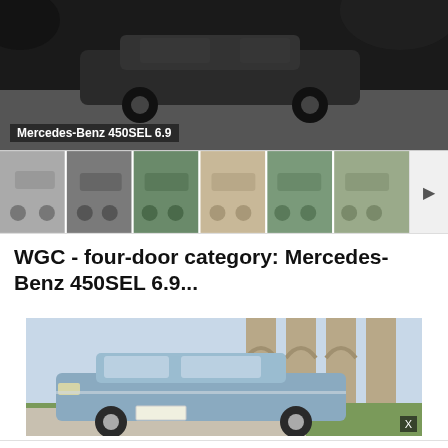[Figure (photo): Black and white overhead/close-up photo of a Mercedes-Benz 450SEL 6.9 car, showing the front/top portion against a dark background with foliage shadows]
Mercedes-Benz 450SEL 6.9
[Figure (photo): Thumbnail strip showing 6 different photos of the Mercedes-Benz 450SEL 6.9 from various angles, with a right arrow navigation button]
WGC - four-door category: Mercedes-Benz 450SEL 6.9...
[Figure (photo): Color photo of a light blue Mercedes-Benz 450SEL 6.9 parked in front of stone archway/colonnade building, shot from front-side angle]
Delivered in as Little as 1 Hr
Walgreens Photo